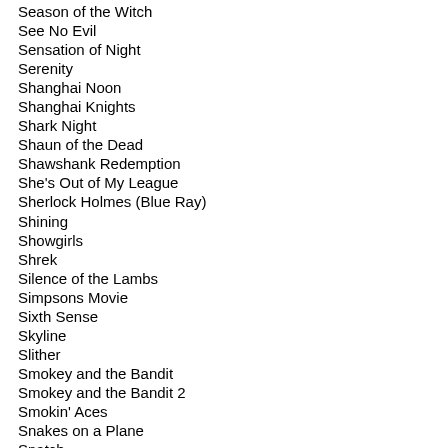Season of the Witch
See No Evil
Sensation of Night
Serenity
Shanghai Noon
Shanghai Knights
Shark Night
Shaun of the Dead
Shawshank Redemption
She's Out of My League
Sherlock Holmes (Blue Ray)
Shining
Showgirls
Shrek
Silence of the Lambs
Simpsons Movie
Sixth Sense
Skyline
Slither
Smokey and the Bandit
Smokey and the Bandit 2
Smokin' Aces
Snakes on a Plane
Snatch
Sneakers
Sorcerer's Apprentice
South Park Season 1
South Park Bigger, Longer, Uncut
Space Balls
Specialist